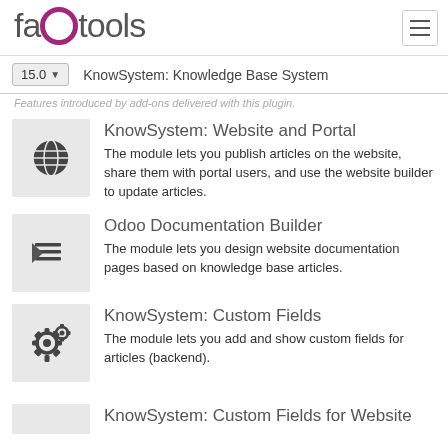faotools — hamburger menu
15.0 | KnowSystem: Knowledge Base System
Features introduced by add-ons delivered with this plugin.
KnowSystem: Website and Portal
The module lets you publish articles on the website, share them with portal users, and use the website builder to update articles.
Odoo Documentation Builder
The module lets you design website documentation pages based on knowledge base articles.
KnowSystem: Custom Fields
The module lets you add and show custom fields for articles (backend).
KnowSystem: Custom Fields for Website